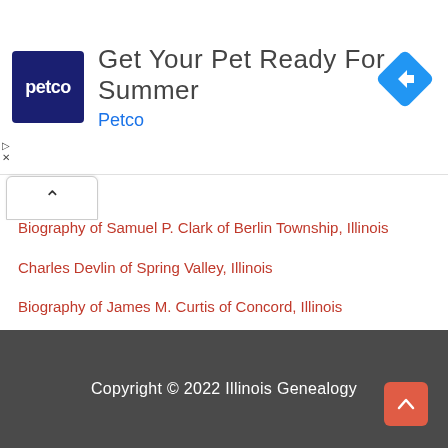[Figure (screenshot): Petco advertisement banner with Petco logo, text 'Get Your Pet Ready For Summer', 'Petco' link, and a blue diamond navigation arrow icon on the right.]
Biography of Samuel P. Clark of Berlin Township, Illinois
Charles Devlin of Spring Valley, Illinois
Biography of James M. Curtis of Concord, Illinois
Biography of Thomas P. Currier of Neponset, Illinois
Biography of Jonathan T. Currier of Neponset, Illinois
Copyright © 2022 Illinois Genealogy